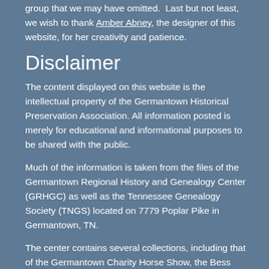group that we may have omitted.  Last but not least, we wish to thank Amber Abney, the designer of this website, for her creativity and patience.
Disclaimer
The content displayed on this website is the intellectual property of the Germantown Historical Preservation Association. All information posted is merely for educational and informational purposes to be shared with the public.
Much of the information is taken from the files of the Germantown Regional History and Genealogy Center (GRHGC) as well as the Tennessee Genealogy Society (TNGS) located on 7779 Poplar Pike in Germantown, TN.
The center contains several collections, including that of the Germantown Charity Horse Show, the Bess Barry Collection, the Harry Cloves Collection, 30 years